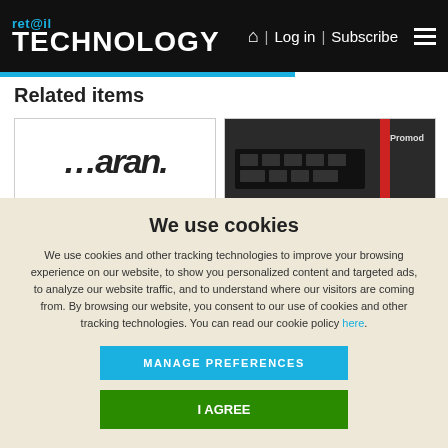ret@il TECHNOLOGY | Log in | Subscribe
Related items
[Figure (logo): Maran logo text partially visible in a white card]
[Figure (photo): Promod product image on dark background]
We use cookies
We use cookies and other tracking technologies to improve your browsing experience on our website, to show you personalized content and targeted ads, to analyze our website traffic, and to understand where our visitors are coming from. By browsing our website, you consent to our use of cookies and other tracking technologies. You can read our cookie policy here.
MANAGE PREFERENCES
I AGREE